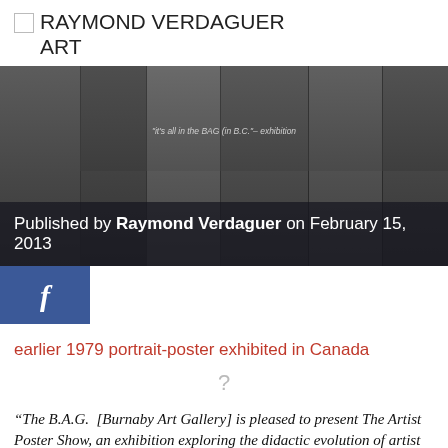RAYMOND VERDAGUER ART
[Figure (photo): Black and white group photo of people holding artwork/posters. Text overlay reads: Published by Raymond Verdaguer on February 15, 2013]
[Figure (logo): Facebook 'f' logo button in blue square]
earlier 1979 portrait-poster exhibited in Canada
[Figure (other): Question mark placeholder image]
“The B.A.G.  [Burnaby Art Gallery] is pleased to present The Artist Poster Show, an exhibition exploring the didactic evolution of artist exhibition posters. Drawn primarily from the Burnaby Art Gallery’s permanent collection, the show spans